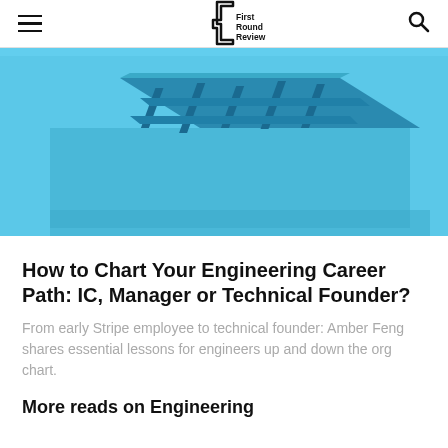First Round Review
[Figure (photo): Blue 3D maze/labyrinth structure on a light blue background, photographed from an angle above]
How to Chart Your Engineering Career Path: IC, Manager or Technical Founder?
From early Stripe employee to technical founder: Amber Feng shares essential lessons for engineers up and down the org chart.
More reads on Engineering